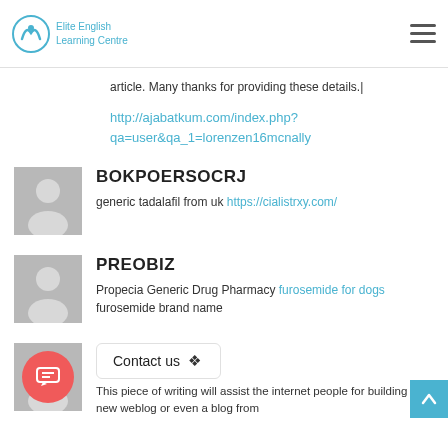Elite English Learning Centre
article. Many thanks for providing these details.|
http://ajabatkum.com/index.php?qa=user&qa_1=lorenzen16mcnally
BOKPOERSOCRJ
generic tadalafil from uk https://cialistrxy.com/
PREOBIZ
Propecia Generic Drug Pharmacy furosemide for dogs furosemide brand name
Contact us
This piece of writing will assist the internet people for building up new weblog or even a blog from